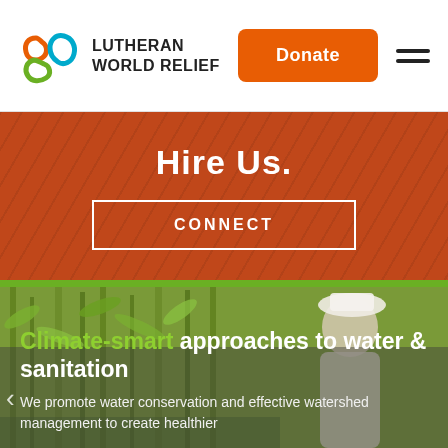[Figure (logo): Lutheran World Relief logo — three colored loops (orange, green, blue) with text LUTHERAN WORLD RELIEF]
Donate
Hire Us.
CONNECT
[Figure (photo): An elderly man smiling while working among bamboo plants in a wetland or forest environment]
Climate-smart approaches to water & sanitation
We promote water conservation and effective watershed management to create healthier